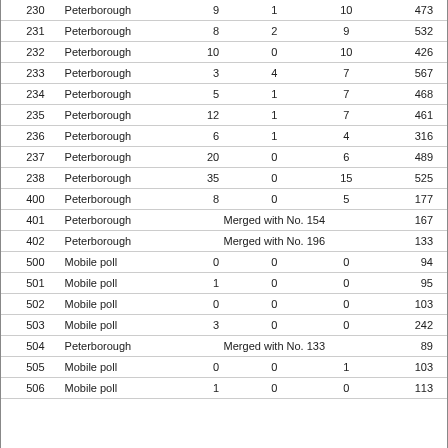|  |  |  |  |  |  |
| --- | --- | --- | --- | --- | --- |
| 230 | Peterborough | 9 | 1 | 10 | 473 |
| 231 | Peterborough | 8 | 2 | 9 | 532 |
| 232 | Peterborough | 10 | 0 | 10 | 426 |
| 233 | Peterborough | 3 | 4 | 7 | 567 |
| 234 | Peterborough | 5 | 1 | 7 | 468 |
| 235 | Peterborough | 12 | 1 | 7 | 461 |
| 236 | Peterborough | 6 | 1 | 4 | 316 |
| 237 | Peterborough | 20 | 0 | 6 | 489 |
| 238 | Peterborough | 35 | 0 | 15 | 525 |
| 400 | Peterborough | 8 | 0 | 5 | 177 |
| 401 | Peterborough | Merged with No. 154 |  |  | 167 |
| 402 | Peterborough | Merged with No. 196 |  |  | 133 |
| 500 | Mobile poll | 0 | 0 | 0 | 94 |
| 501 | Mobile poll | 1 | 0 | 0 | 95 |
| 502 | Mobile poll | 0 | 0 | 0 | 103 |
| 503 | Mobile poll | 3 | 0 | 0 | 242 |
| 504 | Peterborough | Merged with No. 133 |  |  | 89 |
| 505 | Mobile poll | 0 | 0 | 1 | 103 |
| 506 | Mobile poll | 1 | 0 | 0 | 113 |